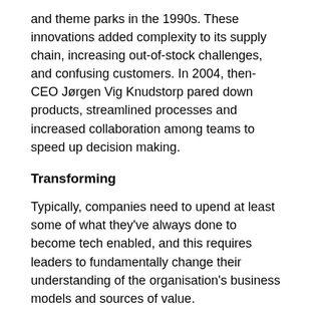and theme parks in the 1990s. These innovations added complexity to its supply chain, increasing out-of-stock challenges, and confusing customers. In 2004, then-CEO Jørgen Vig Knudstorp pared down products, streamlined processes and increased collaboration among teams to speed up decision making.
Transforming
Typically, companies need to upend at least some of what they've always done to become tech enabled, and this requires leaders to fundamentally change their understanding of the organisation's business models and sources of value.
Domino's Pizza is one example of a company transforming its understanding of its own business – from that of a pizza company to a technology company that sells pizza – by embracing a variety of technologies to support the goal of an improved customer-ordering experience.
Other companies need to start creating distributing...